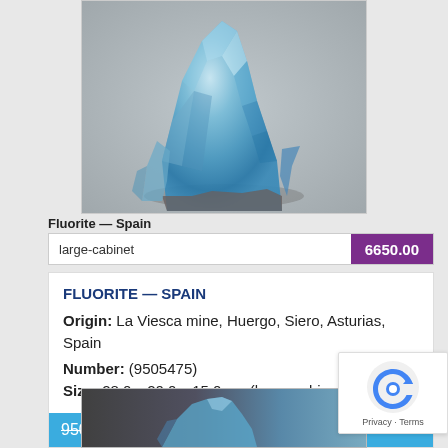[Figure (photo): Photograph of a blue fluorite mineral specimen from Spain against a grey background]
Fluorite — Spain
large-cabinet
6650.00
FLUORITE — SPAIN
Origin: La Viesca mine, Huergo, Siero, Asturias, Spain
Number: (9505475)
Size: 28.0 x 20.0 x 15.0 cm (large-cabinet)
9500.00 Special Sale 6650.00
[Figure (photo): Partial photograph of another blue mineral specimen at the bottom of the page]